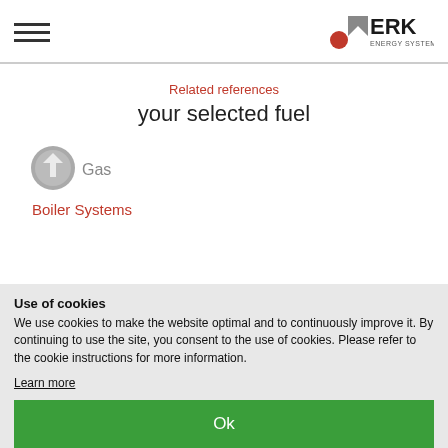ERK ENERGY SYSTEMS
Related references
your selected fuel
[Figure (illustration): Gray circular icon with a letter T-like symbol for Gas fuel type]
Gas
Boiler Systems
Use of cookies
We use cookies to make the website optimal and to continuously improve it. By continuing to use the site, you consent to the use of cookies. Please refer to the cookie instructions for more information.
Learn more
Ok